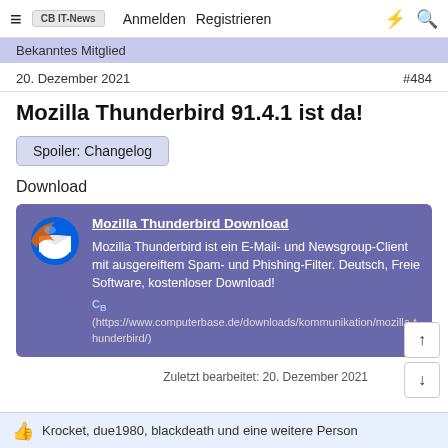≡  CB IT-News  Anmelden  Registrieren  ⚡  🔍
Bekanntes Mitglied
20. Dezember 2021   #484
Mozilla Thunderbird 91.4.1 ist da!
Spoiler: Changelog
Download
Mozilla Thunderbird Download
Mozilla Thunderbird ist ein E-Mail- und Newsgroup-Client mit ausgereiftem Spam- und Phishing-Filter. Deutsch, Freie Software, kostenloser Download!
CB
(https://www.computerbase.de/downloads/kommunikation/mozilla-thunderbird/)
Zuletzt bearbeitet: 20. Dezember 2021
Krocket, due1980, blackdeath und eine weitere Person